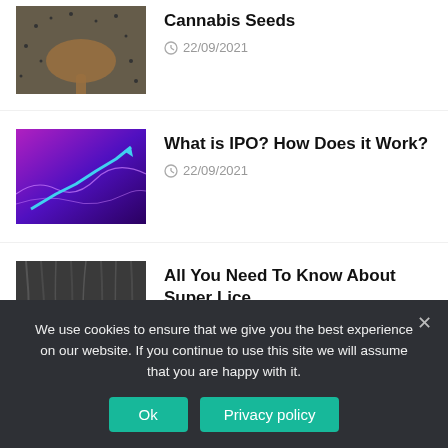[Figure (photo): Wooden spoon with cannabis seeds on a dark seed background]
Cannabis Seeds
22/09/2021
[Figure (illustration): Purple/blue gradient background with upward trending arrow chart and wave lines, representing IPO/finance]
What is IPO? How Does it Work?
22/09/2021
[Figure (photo): Close-up of hair with lice and red-nailed fingers parting the hair]
All You Need To Know About Super Lice
22/09/2021
We use cookies to ensure that we give you the best experience on our website. If you continue to use this site we will assume that you are happy with it.